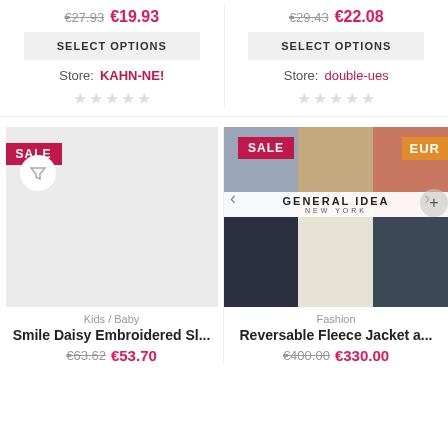€27.93  €19.93
SELECT OPTIONS
Store: KAHN-NE!
€29.43  €22.08
SELECT OPTIONS
Store: double-ues
[Figure (photo): Left product card with SALE badge and filter icon, gray placeholder image. Category: Kids / Baby. Product: Smile Daisy Embroidered Sl... Price: €63.62 €53.70]
[Figure (photo): Right product card with SALE badge, EUR badge, and General Idea New York brand carousel showing fashion jacket models. Category: Fashion. Product: Reversable Fleece Jacket a... Price: €400.00 €330.00]